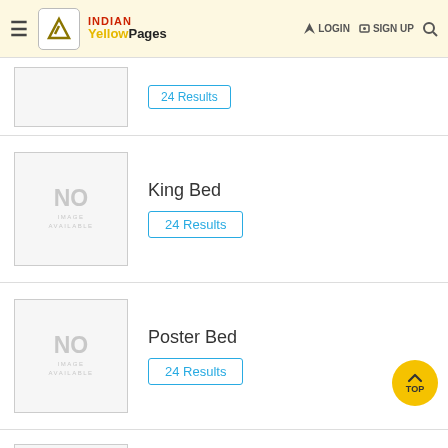INDIAN Yellow Pages — LOGIN  SIGN UP
[Figure (screenshot): Partial listing card with no image placeholder at top of page]
King Bed
24 Results
Poster Bed
24 Results
Candy Machines